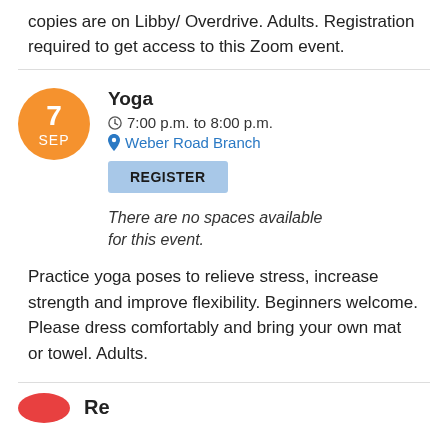copies are on Libby/ Overdrive. Adults. Registration required to get access to this Zoom event.
Yoga
7:00 p.m. to 8:00 p.m.
Weber Road Branch
REGISTER  There are no spaces available for this event.
Practice yoga poses to relieve stress, increase strength and improve flexibility. Beginners welcome. Please dress comfortably and bring your own mat or towel. Adults.